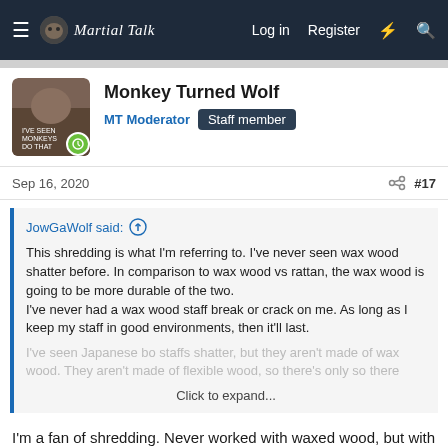Martial Talk — Log in  Register
Monkey Turned Wolf
MT Moderator  Staff member
Sep 16, 2020  #17
JowGaWolf said:
This shredding is what I'm referring to. I've never seen wax wood shatter before. In comparison to wax wood vs rattan, the wax wood is going to be more durable of the two.
I've never had a wax wood staff break or crack on me. As long as I keep my staff in good environments, then it'll last.
I've seen Japanese bo staffs shatter, but they aren't made of wax wood. They aren't made of flexible wood, so there's only so there
Click to expand...
I'm a fan of shredding. Never worked with waxed wood, but with rattan. I know that if it breaks I'm not getting a splinter in my eye...